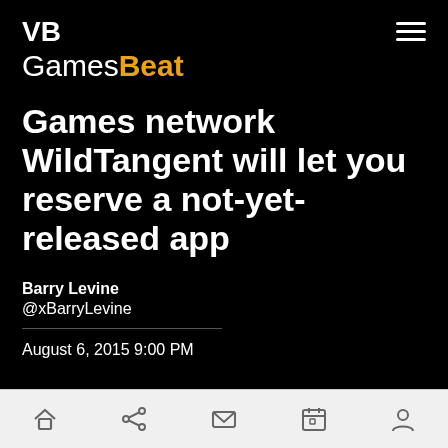VB GamesBeat
Games network WildTangent will let you reserve a not-yet-released app
Barry Levine
@xBarryLevine
August 6, 2015 9:00 PM
Navigation bar with home, share, mail, calendar, and profile icons